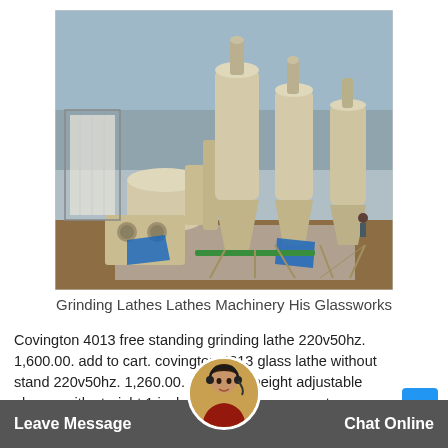[Figure (photo): Industrial grinding mill machinery with cyclone separators and dust collectors installed outdoors on a concrete pad, with workers visible near the equipment and cloudy sky in background.]
Grinding Lathes Lathes Machinery His Glassworks
Covington 4013 free standing grinding lathe 220v50hz. 1,600.00. add to cart. covington 4013 glass lathe without stand 220v50hz. 1,260.00. add to ca height adjustable glass with straight 1 inch sh th e cy sto